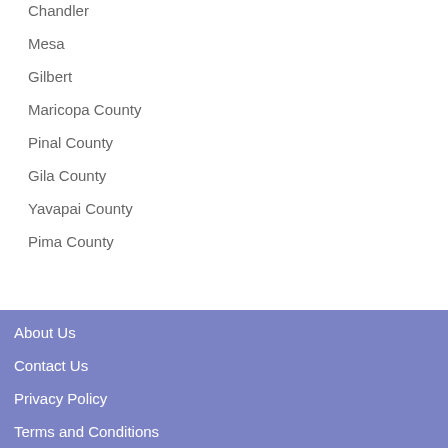Chandler
Mesa
Gilbert
Maricopa County
Pinal County
Gila County
Yavapai County
Pima County
About Us
Contact Us
Privacy Policy
Terms and Conditions